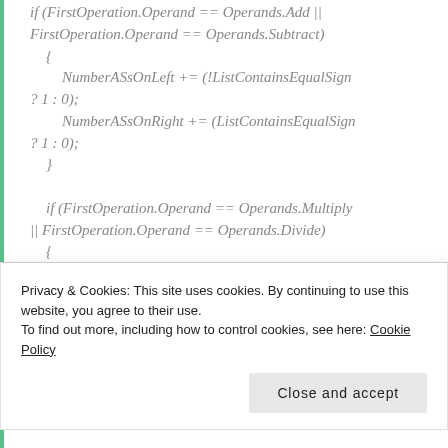if (FirstOperation.Operand == Operands.Add || FirstOperation.Operand == Operands.Subtract)
    {
        NumberASsOnLeft += (!ListContainsEqualSign ? 1 : 0);
        NumberASsOnRight += (ListContainsEqualSign ? 1 : 0);
    }

    if (FirstOperation.Operand == Operands.Multiply || FirstOperation.Operand == Operands.Divide)
    {
        NumberMDsOnLeft += (!ListContainsEqualSign ? 1 : 0);
Privacy & Cookies: This site uses cookies. By continuing to use this website, you agree to their use.
To find out more, including how to control cookies, see here: Cookie Policy